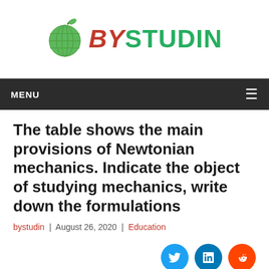[Figure (logo): Bystudin logo with green apple and colorful text BYSTUDIN]
MENU
The table shows the main provisions of Newtonian mechanics. Indicate the object of studying mechanics, write down the formulations
bystudin | August 26, 2020 | Education